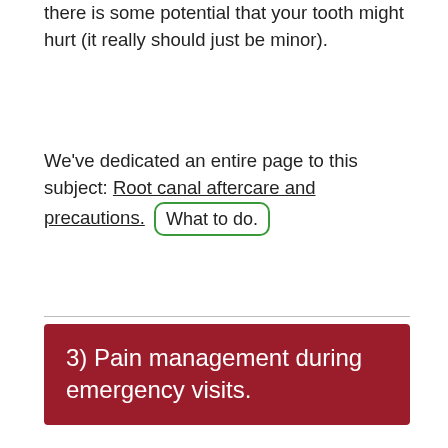there is some potential that your tooth might hurt (it really should just be minor).
We've dedicated an entire page to this subject: Root canal aftercare and precautions. [What to do.]
3) Pain management during emergency visits.
It seems likely that many of the remarks that you hear about how painful having root canal therapy is should really be attributed to those events that initially signaled that it was needed [Signs | Symptoms], and not the procedure itself. And when this type of tooth flare-up occurs, an emergency trip to your dentist's